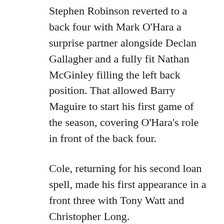Stephen Robinson reverted to a back four with Mark O'Hara a surprise partner alongside Declan Gallagher and a fully fit Nathan McGinley filling the left back position. That allowed Barry Maguire to start his first game of the season, covering O'Hara's role in front of the back four.
Cole, returning for his second loan spell, made his first appearance in a front three with Tony Watt and Christopher Long.
Despite the long lay-off the Steelmen made a spirited start with Cole and Watt looking lively around the visitors' box. After six minutes the pair combined to feed the ball to Allan Campbell at the edge of the box but on his left foot, the Scotland Under 21 star lifted his shot wide of goal.